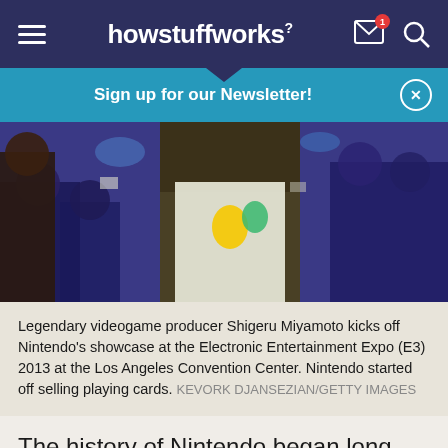howstuffworks
Sign up for our Newsletter!
[Figure (photo): Legendary videogame producer Shigeru Miyamoto on stage at Nintendo's E3 2013 showcase at the Los Angeles Convention Center, with crowd and cameras in background.]
Legendary videogame producer Shigeru Miyamoto kicks off Nintendo's showcase at the Electronic Entertainment Expo (E3) 2013 at the Los Angeles Convention Center. Nintendo started off selling playing cards. KEVORK DJANSEZIAN/GETTY IMAGES
The history of Nintendo began long before the
Get the HowStuffWorks Newsletter!  Sign Up